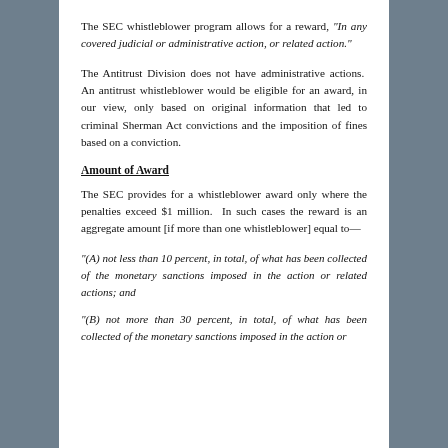The SEC whistleblower program allows for a reward, “In any covered judicial or administrative action, or related action.”
The Antitrust Division does not have administrative actions. An antitrust whistleblower would be eligible for an award, in our view, only based on original information that led to criminal Sherman Act convictions and the imposition of fines based on a conviction.
Amount of Award
The SEC provides for a whistleblower award only where the penalties exceed $1 million. In such cases the reward is an aggregate amount [if more than one whistleblower] equal to—
“(A) not less than 10 percent, in total, of what has been collected of the monetary sanctions imposed in the action or related actions; and
“(B) not more than 30 percent, in total, of what has been collected of the monetary sanctions imposed in the action or